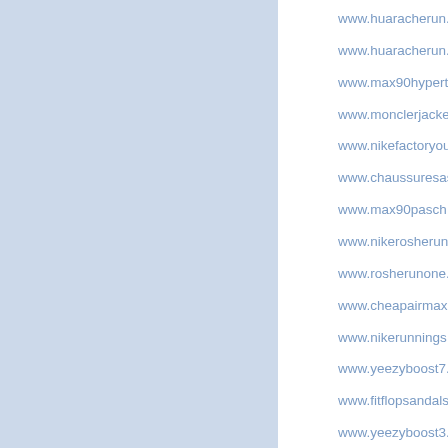www.huaracherun...
www.huaracherun...
www.max90hypert...
www.monclerjacke...
www.nikefactoryou...
www.chaussuresas...
www.max90pasch...
www.nikerosherun...
www.rosherunone...
www.cheapairmax...
www.nikerunnings...
www.yeezyboost7...
www.fitflopsandals...
www.yeezyboost3...
www.airhuarachen...
www.fitflopsandals...
www.airmax90pas...